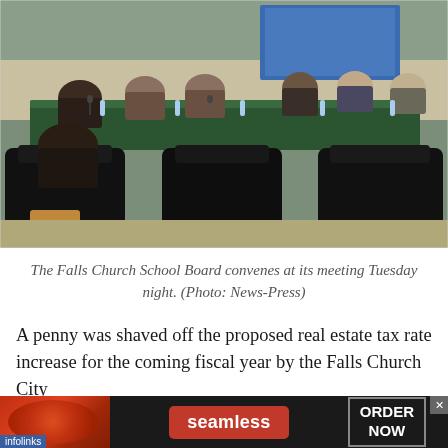[Figure (photo): The Falls Church School Board meeting room with board members seated around a large conference table, with empty chairs in the foreground facing the board.]
The Falls Church School Board convenes at its meeting Tuesday night. (Photo: News-Press)
A penny was shaved off the proposed real estate tax rate increase for the coming fiscal year by the Falls Church City
[Figure (screenshot): Seamless food delivery advertisement banner with pizza image on left, red 'seamless' button in center, and 'ORDER NOW' box on right. Infolinks label at bottom left. Close X button at top right.]